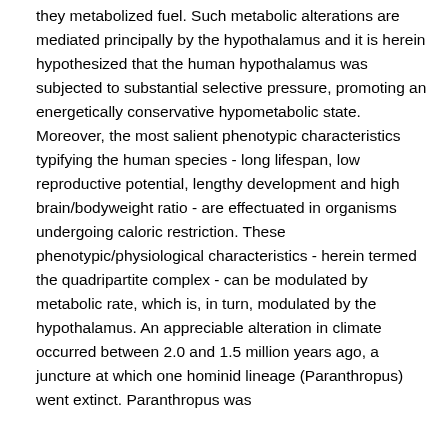they metabolized fuel. Such metabolic alterations are mediated principally by the hypothalamus and it is herein hypothesized that the human hypothalamus was subjected to substantial selective pressure, promoting an energetically conservative hypometabolic state. Moreover, the most salient phenotypic characteristics typifying the human species - long lifespan, low reproductive potential, lengthy development and high brain/bodyweight ratio - are effectuated in organisms undergoing caloric restriction. These phenotypic/physiological characteristics - herein termed the quadripartite complex - can be modulated by metabolic rate, which is, in turn, modulated by the hypothalamus. An appreciable alteration in climate occurred between 2.0 and 1.5 million years ago, a juncture at which one hominid lineage (Paranthropus) went extinct. Paranthropus was